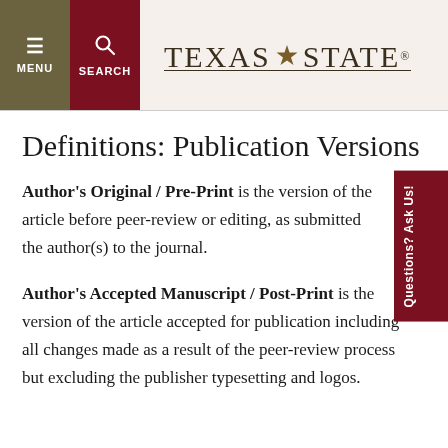MENU SEARCH TEXAS STATE
Definitions: Publication Versions
Author's Original / Pre-Print is the version of the article before peer-review or editing, as submitted the author(s) to the journal.
Author's Accepted Manuscript / Post-Print is the version of the article accepted for publication including all changes made as a result of the peer-review process but excluding the publisher typesetting and logos.